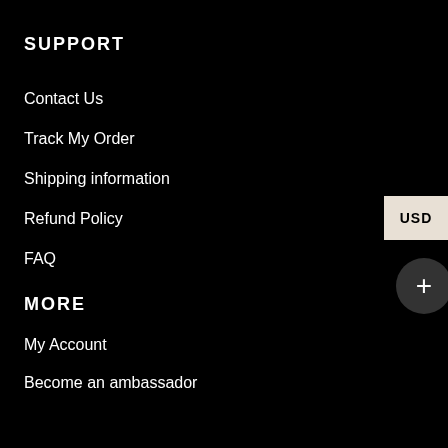SUPPORT
Contact Us
Track My Order
Shipping information
Refund Policy
FAQ
MORE
My Account
Become an ambassador
About Us
SHOP COLLECTION
Spongebob & Patrick
Mickey & Minnie Mouse